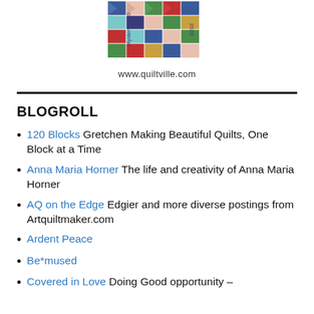[Figure (illustration): Quilt block logo with colorful patchwork pattern and text 'Mystery 2020' along the side]
www.quiltville.com
BLOGROLL
120 Blocks Gretchen Making Beautiful Quilts, One Block at a Time
Anna Maria Horner The life and creativity of Anna Maria Horner
AQ on the Edge Edgier and more diverse postings from Artquiltmaker.com
Ardent Peace
Be*mused
Covered in Love Doing Good opportunity –